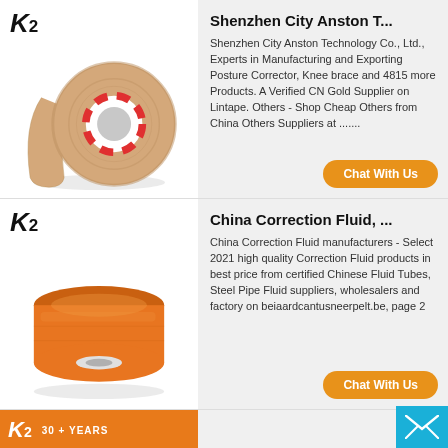[Figure (photo): K2 logo and beige/skin-tone tape roll with red striped core]
Shenzhen City Anston T...
Shenzhen City Anston Technology Co., Ltd., Experts in Manufacturing and Exporting Posture Corrector, Knee brace and 4815 more Products. A Verified CN Gold Supplier on Lintape. Others - Shop Cheap Others from China Others Suppliers at .......
[Figure (photo): K2 logo and orange tape roll]
China Correction Fluid, ...
China Correction Fluid manufacturers - Select 2021 high quality Correction Fluid products in best price from certified Chinese Fluid Tubes, Steel Pipe Fluid suppliers, wholesalers and factory on beiaardcantusneerpelt.be, page 2
[Figure (other): K2 logo with '30 + YEARS' text strip at bottom, partial third card]